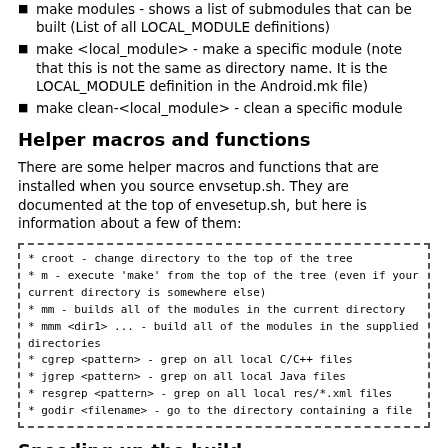make modules - shows a list of submodules that can be built (List of all LOCAL_MODULE definitions)
make <local_module> - make a specific module (note that this is not the same as directory name. It is the LOCAL_MODULE definition in the Android.mk file)
make clean-<local_module> - clean a specific module
Helper macros and functions
There are some helper macros and functions that are installed when you source envsetup.sh. They are documented at the top of envesetup.sh, but here is information about a few of them:
* croot - change directory to the top of the tree
* m - execute 'make' from the top of the tree (even if your current directory is somewhere else)
* mm - builds all of the modules in the current directory
* mmm <dir1> ... - build all of the modules in the supplied directories
* cgrep <pattern> - grep on all local C/C++ files
* jgrep <pattern> - grep on all local Java files
* resgrep <pattern> - grep on all local res/*.xml files
* godir <filename> - go to the directory containing a file
Speeding up the build
You can use the -j' option with make to start multiple threads of...